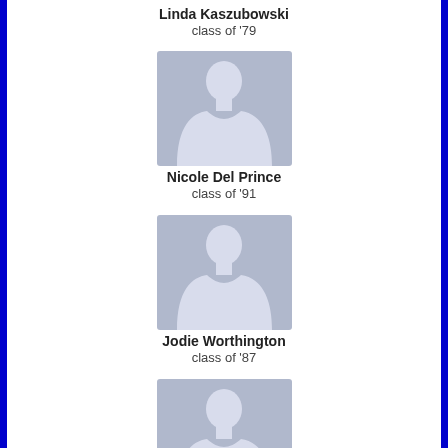Linda Kaszubowski
class of '79
[Figure (illustration): Female silhouette placeholder avatar with light blue-grey background]
Nicole Del Prince
class of '91
[Figure (illustration): Female silhouette placeholder avatar with light blue-grey background]
Jodie Worthington
class of '87
[Figure (illustration): Female silhouette placeholder avatar with light blue-grey background]
Patricia Rumley
class of '80